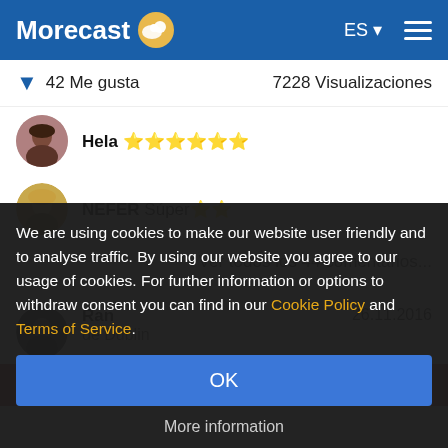[Figure (screenshot): Morecast website header with logo, ES language selector, and hamburger menu on blue background]
42 Me gusta
7228 Visualizaciones
Hela 🌟🌟🌟🌟🌟🌟
NEFER Súper🌟🌟
Ver todos los 44 comentarios...
Ran
de Dublin
26.11.2016
[Figure (photo): Colorful floral image strip partially visible]
We are using cookies to make our website user friendly and to analyse traffic. By using our website you agree to our usage of cookies. For further information or options to withdraw consent you can find in our Cookie Policy and Terms of Service.
OK
More information